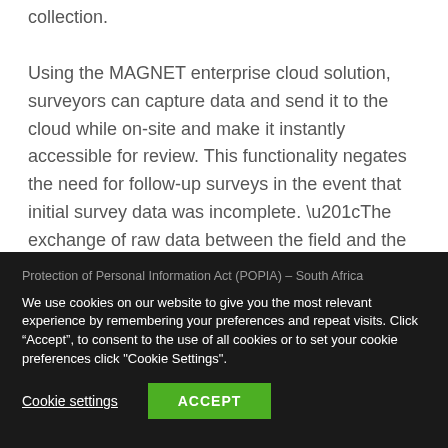collection.

Using the MAGNET enterprise cloud solution, surveyors can capture data and send it to the cloud while on-site and make it instantly accessible for review. This functionality negates the need for follow-up surveys in the event that initial survey data was incomplete. “The exchange of raw data between the field and the office is seamless. This provides the advantage of improved
Protection of Personal Information Act (POPIA) – South Africa
We use cookies on our website to give you the most relevant experience by remembering your preferences and repeat visits. Click “Accept”, to consent to the use of all cookies or to set your cookie preferences click "Cookie Settings".
Cookie settings   ACCEPT